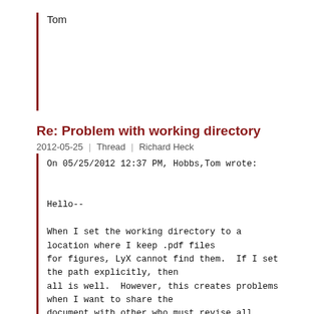Tom
Re: Problem with working directory
2012-05-25  |  Thread  |  Richard Heck
On 05/25/2012 12:37 PM, Hobbs,Tom wrote:


Hello--

When I set the working directory to a location where I keep .pdf files
for figures, LyX cannot find them.  If I set the path explicitly, then
all is well.  However, this creates problems when I want to share the
document with other who must revise all pathnames.  Setting the